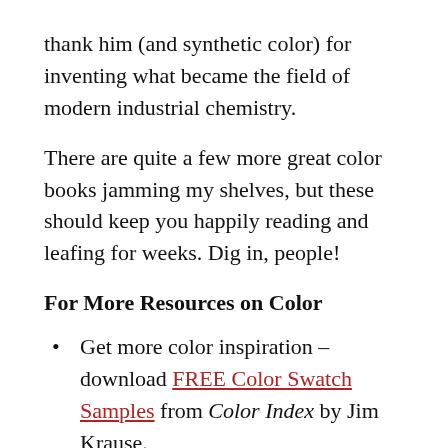thank him (and synthetic color) for inventing what became the field of modern industrial chemistry.
There are quite a few more great color books jamming my shelves, but these should keep you happily reading and leafing for weeks. Dig in, people!
For More Resources on Color
Get more color inspiration – download FREE Color Swatch Samples from Color Index by Jim Krause.
Color Inspirations: See top color palettes